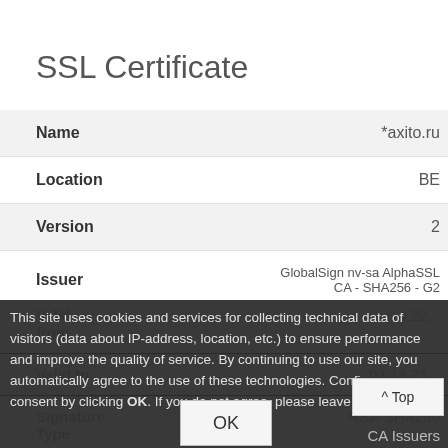SSL Certificate
| Field | Value |
| --- | --- |
| Name | *axito.ru |
| Location | BE |
| Version | 2 |
| Issuer | GlobalSign nv-sa AlphaSSL CA - SHA256 - G2 |
| Valid from | ...14.22... |
| Valid to | ...03:18.23... |
| Signature Type | RSA-SHA256 |
This site uses cookies and services for collecting technical data of visitors (data about IP-address, location, etc.) to ensure performance and improve the quality of service. By continuing to use our site, you automatically agree to the use of these technologies. Confirm your consent by clicking OK. If you do not agree, please leave th...
CA Issuers